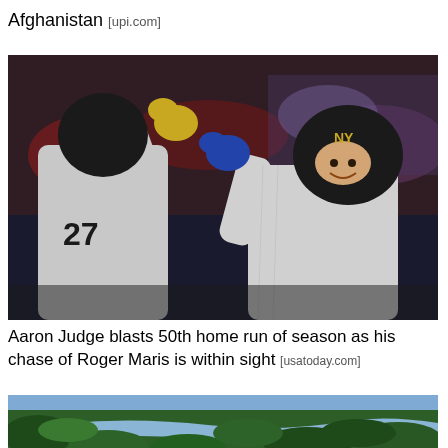Afghanistan [upi.com]
[Figure (photo): Two New York Yankees baseball players in grey uniforms celebrating with a high-five on the field. Player #27 on the left facing away, another player on the right smiling and wearing a helmet.]
Aaron Judge blasts 50th home run of season as his chase of Roger Maris is within sight [usatoday.com]
[Figure (photo): Aerial view of a river winding through dense green tropical forest.]